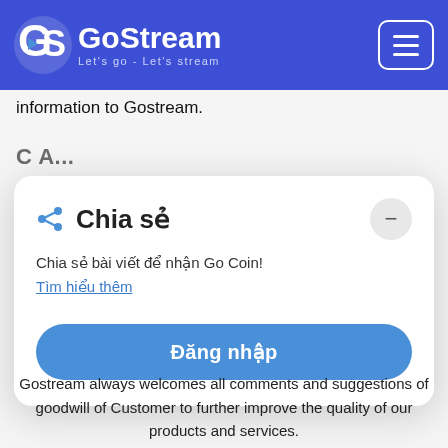GoStream — Let's go - Let's stream
information to Gostream.
Chia sẻ
Chia sẻ bài viết để nhận Go Coin!
Tìm hiểu thêm
Đăng nhập
Gostream always welcomes all comments and suggestions of goodwill of Customer to further improve the quality of our products and services.